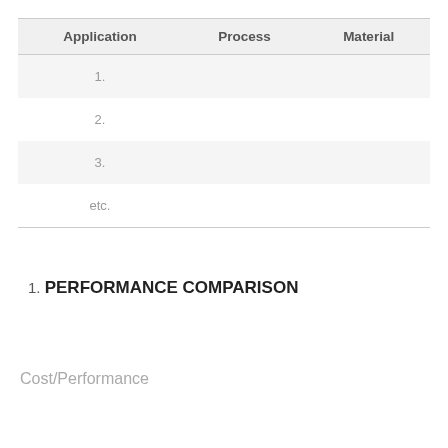| Application | Process | Material |
| --- | --- | --- |
| 1. |  |  |
| 2. |  |  |
| 3. |  |  |
| etc. |  |  |
1. PERFORMANCE COMPARISON
Cost/Performance